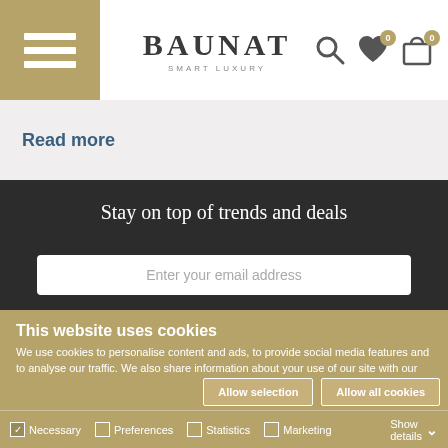BAUNAT SMART LUXURY
Read more
Stay on top of trends and deals
Enter your email address
This website uses cookies
We use cookies to personalise content and ads, to provide social media features and to analyse our traffic. We also share information about your use of our site with our social media, advertising and analytics partners who may combine it with other information that you've provided to them or that they've collected from your use of their services.
Allow selection | Allow all cookies
Necessary  Preferences  Statistics  Marketing  Show details